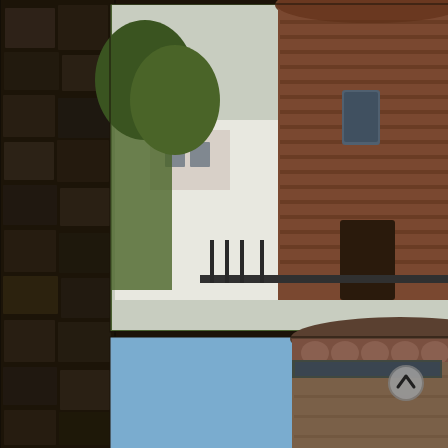[Figure (photo): Three stacked photographs of medieval brick/stone towers (likely city wall towers in a Dutch or German city). Top photo shows a tall round brick tower with a window, surrounded by trees and buildings. Middle photo shows a round stone tower with decorative cornice at the top, blue sky background, with apartment buildings behind. Bottom photo shows a close-up of a large round stone tower with pointed turrets visible at the top, blue sky and buildings in background. The photos are arranged vertically on the left side of a dark textured background suggesting a stone wall context. A small navigation arrow icon appears in the lower right.]